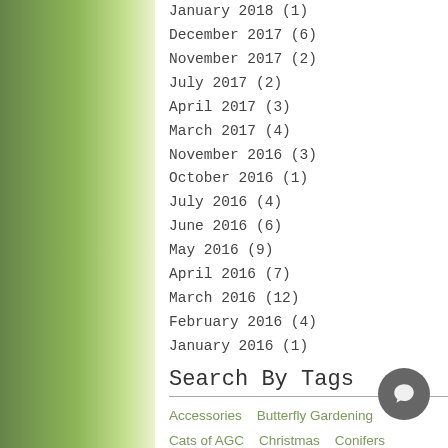January 2018 (1)
December 2017 (6)
November 2017 (2)
July 2017 (2)
April 2017 (3)
March 2017 (4)
November 2016 (3)
October 2016 (1)
July 2016 (4)
June 2016 (6)
May 2016 (9)
April 2016 (7)
March 2016 (12)
February 2016 (4)
January 2016 (1)
Search By Tags
Accessories   Butterfly Gardening
Cats of AGC   Christmas   Conifers
Container Gardening   Evergreens   Fall